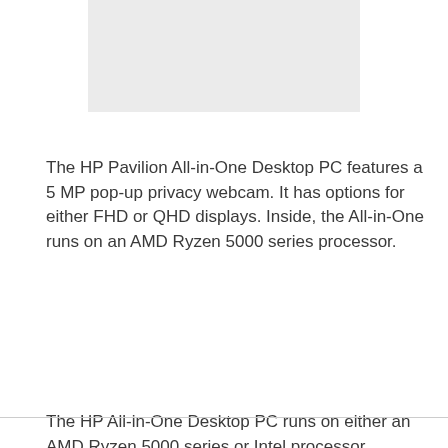[Figure (other): Light gray rectangular image placeholder at top center of page]
The HP Pavilion All-in-One Desktop PC features a 5 MP pop-up privacy webcam. It has options for either FHD or QHD displays. Inside, the All-in-One runs on an AMD Ryzen 5000 series processor.
The HP All-in-One Desktop PC runs on either an AMD Ryzen 5000 series or Intel processor.